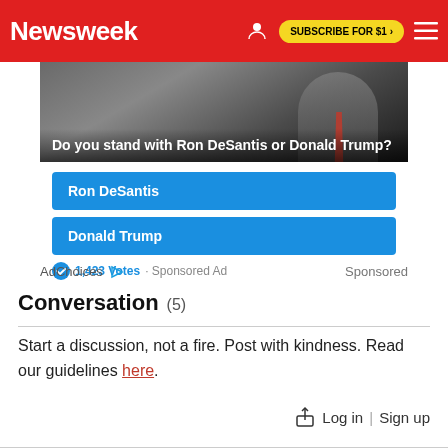Newsweek  SUBSCRIBE FOR $1 >
[Figure (other): Newsweek sponsored poll ad showing a man's face with text overlay: 'Do you stand with Ron DeSantis or Donald Trump?' with two blue poll buttons labeled 'Ron DeSantis' and 'Donald Trump', and a footer showing 1,423 Votes · Sponsored Ad]
AdChoices  Sponsored
Conversation (5)
Start a discussion, not a fire. Post with kindness. Read our guidelines here.
Log in | Sign up